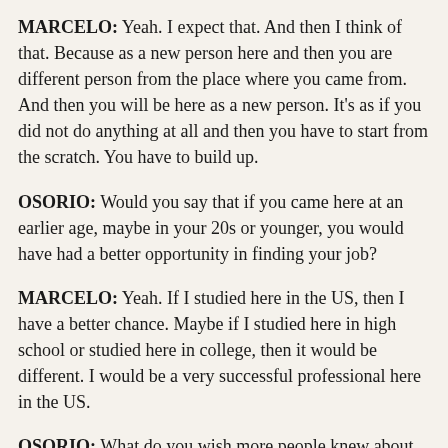MARCELO: Yeah. I expect that. And then I think of that. Because as a new person here and then you are different person from the place where you came from. And then you will be here as a new person. It’s as if you did not do anything at all and then you have to start from the scratch. You have to build up.
OSORIO: Would you say that if you came here at an earlier age, maybe in your 20s or younger, you would have had a better opportunity in finding your job?
MARCELO: Yeah. If I studied here in the US, then I have a better chance. Maybe if I studied here in high school or studied here in college, then it would be different. I would be a very successful professional here in the US.
OSORIO: What do you wish more people knew about immigrant like Filipino immigrants? It could be people like Americans, like what do you wish they knew or understood more about Filipinos?